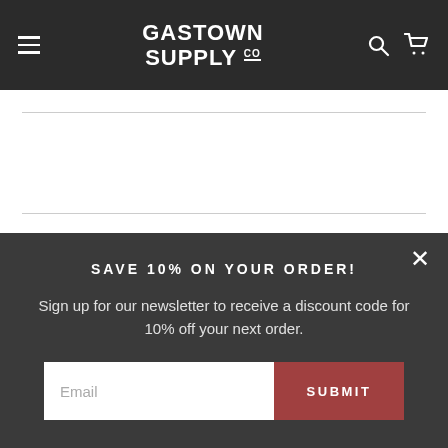GASTOWN SUPPLY CO
YOU MAY ALSO LIKE
SAVE 10% ON YOUR ORDER!
Sign up for our newsletter to receive a discount code for 10% off your next order.